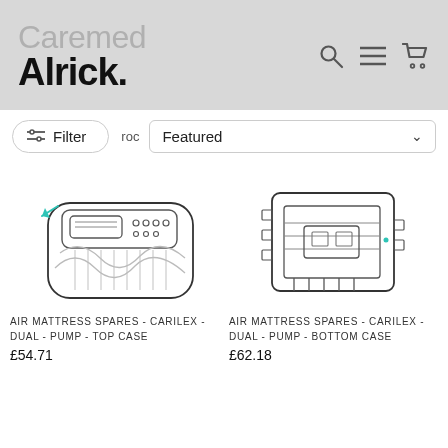Caremed Alrick.
Filter   Featured
[Figure (illustration): Line drawing of an air mattress pump top case (Carilex dual pump), showing front panel with control buttons and display screen]
AIR MATTRESS SPARES - CARILEX - DUAL - PUMP - TOP CASE
£54.71
[Figure (illustration): Line drawing of an air mattress pump bottom case (Carilex dual pump), showing internal components and housing]
AIR MATTRESS SPARES - CARILEX - DUAL - PUMP - BOTTOM CASE
£62.18